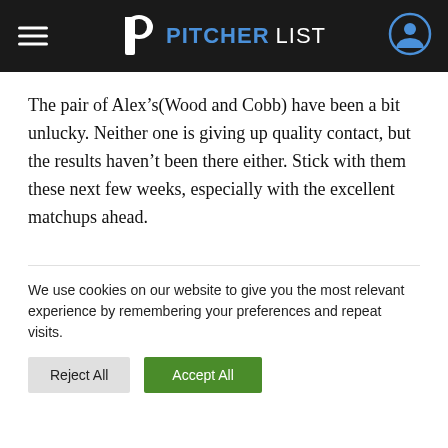PITCHERLIST
The pair of Alex’s(Wood and Cobb) have been a bit unlucky. Neither one is giving up quality contact, but the results haven’t been there either. Stick with them these next few weeks, especially with the excellent matchups ahead.
We use cookies on our website to give you the most relevant experience by remembering your preferences and repeat visits.
Reject All  Accept All